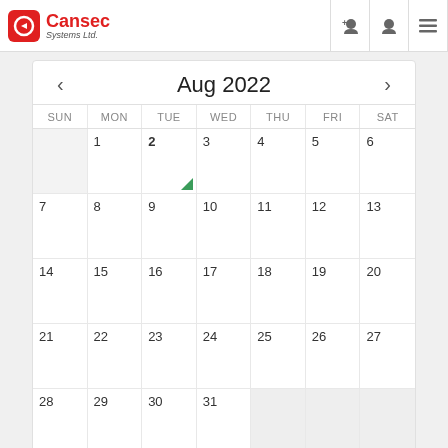[Figure (logo): Cansec Systems Ltd. logo with red rounded square icon and red text]
[Figure (infographic): August 2022 calendar with navigation arrows, day headers SUN-SAT, dates 1-31, day 2 highlighted as today with green triangle marker]